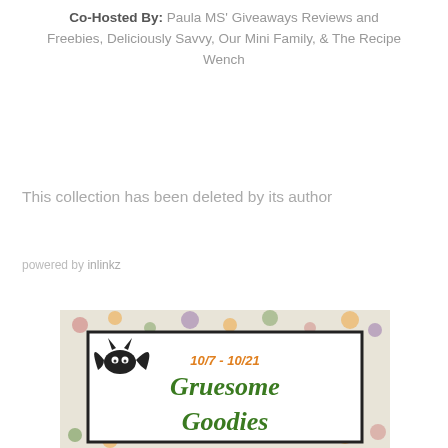Co-Hosted By: Paula MS' Giveaways Reviews and Freebies, Deliciously Savvy, Our Mini Family, & The Recipe Wench
This collection has been deleted by its author
powered by inlinkz
[Figure (illustration): Halloween themed giveaway banner showing a cartoon bat, date 10/7 - 10/21, text 'Gruesome Goodies' in green on a Halloween-patterned background with pumpkins, spiders, and cats]